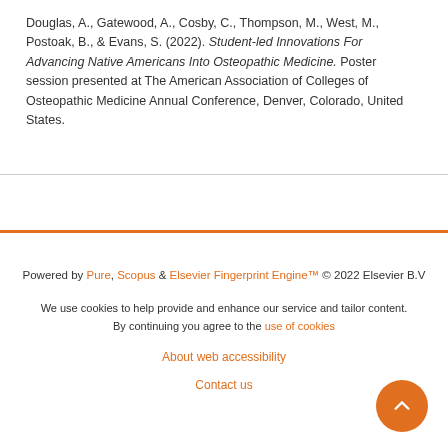Douglas, A., Gatewood, A., Cosby, C., Thompson, M., West, M., Postoak, B., & Evans, S. (2022). Student-led Innovations For Advancing Native Americans Into Osteopathic Medicine. Poster session presented at The American Association of Colleges of Osteopathic Medicine Annual Conference, Denver, Colorado, United States.
Powered by Pure, Scopus & Elsevier Fingerprint Engine™ © 2022 Elsevier B.V
We use cookies to help provide and enhance our service and tailor content. By continuing you agree to the use of cookies
About web accessibility
Contact us